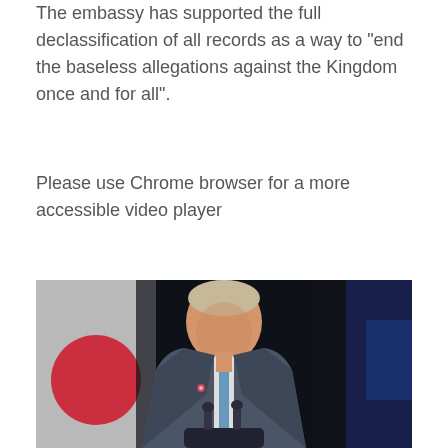The embassy has supported the full declassification of all records as a way to “end the baseless allegations against the Kingdom once and for all”.
Please use Chrome browser for a more accessible video player
[Figure (photo): A man in a dark suit with a light blue tie stands at a podium with microphones, speaking in front of flags including what appears to be a Japanese flag (white with red circle) and a dark blue flag on the right.]